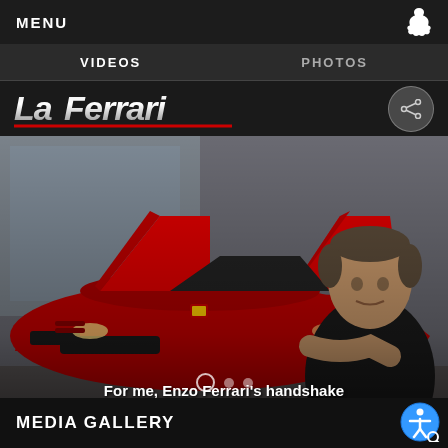MENU
VIDEOS   PHOTOS
[Figure (logo): LaFerrari stylized logo text in silver/chrome italic font with red stripe accent]
[Figure (photo): René Arnoux posing next to a red LaFerrari supercar with butterfly doors open, inside a showroom. Video overlay text reads: For me, Enzo Ferrari's handshake was worth more than a signature on a contract. RENÉ ARNOUX VISITS FERRARI]
For me, Enzo Ferrari's handshake was worth more than a signature on a contract. RENÉ ARNOUX VISITS FERRARI
MEDIA GALLERY